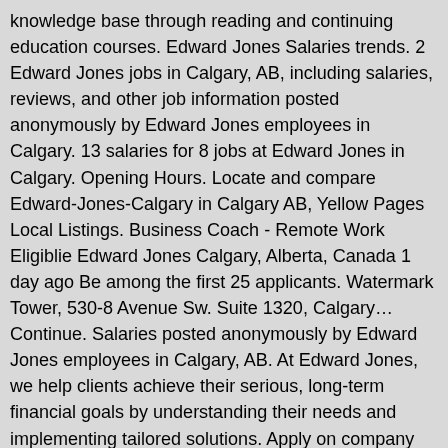knowledge base through reading and continuing education courses. Edward Jones Salaries trends. 2 Edward Jones jobs in Calgary, AB, including salaries, reviews, and other job information posted anonymously by Edward Jones employees in Calgary. 13 salaries for 8 jobs at Edward Jones in Calgary. Opening Hours. Locate and compare Edward-Jones-Calgary in Calgary AB, Yellow Pages Local Listings. Business Coach - Remote Work Eligiblie Edward Jones Calgary, Alberta, Canada 1 day ago Be among the first 25 applicants. Watermark Tower, 530-8 Avenue Sw. Suite 1320, Calgary… Continue. Salaries posted anonymously by Edward Jones employees in Calgary, AB. At Edward Jones, we help clients achieve their serious, long-term financial goals by understanding their needs and implementing tailored solutions. Apply on company website Save. Save this job with your existing LinkedIn profile, or create a new one. As an Edward Jones financial advisor, I believe it's important to invest my time to understand what you're working toward before you invest your money. Montag △ Dienstag △ Mittwoch △ Donnerstag △ Freitag △ Samstag △ Sonntag △ 2616 Kensington Road Northwest, Calgary Canadá.